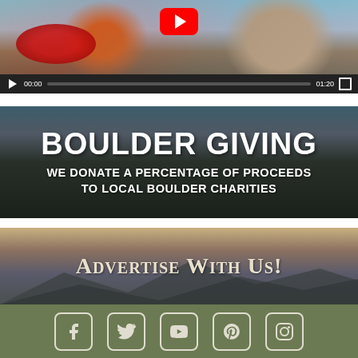[Figure (screenshot): Embedded YouTube video player showing people river tubing with red inflatable tubes. Video controls bar shows play button, timestamp 00:00, progress bar, duration 01:20, and fullscreen button.]
[Figure (photo): Boulder Giving banner with cityscape/mountain background and dark overlay. Large bold white text reads BOULDER GIVING followed by WE DONATE A PERCENTAGE OF PROCEEDS TO LOCAL BOULDER CHARITIES.]
[Figure (photo): Advertise With Us banner with mountain/sky background in warm golden-gray tones. Text reads Advertise With Us! in small-caps serif white font.]
[Figure (infographic): Social media footer bar in olive green with five social media icons: Facebook, Twitter, YouTube, Pinterest, Instagram, all outlined in light beige color.]